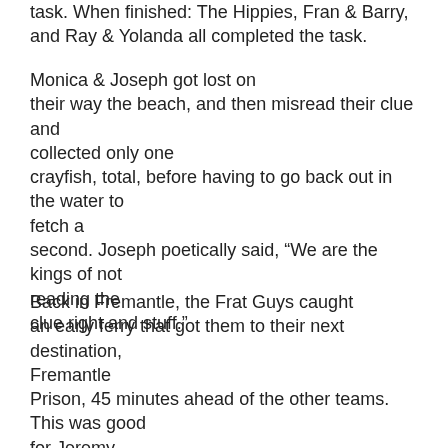task. When finished: The Hippies, Fran & Barry, and Ray & Yolanda all completed the task.
Monica & Joseph got lost on their way the beach, and then misread their clue and collected only one crayfish, total, before having to go back out in the water to fetch a second. Joseph poetically said, “We are the kings of not reading the clue right and stuff.”
Back in Fremantle, the Frat Guys caught an early ferry that got them to their next destination, Fremantle Prison, 45 minutes ahead of the other teams. This was good for Jeremy, who spent almost an hour wandering around lost before he finished his